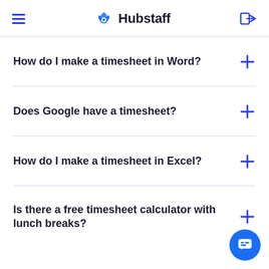Hubstaff
How do I make a timesheet in Word?
Does Google have a timesheet?
How do I make a timesheet in Excel?
Is there a free timesheet calculator with lunch breaks?